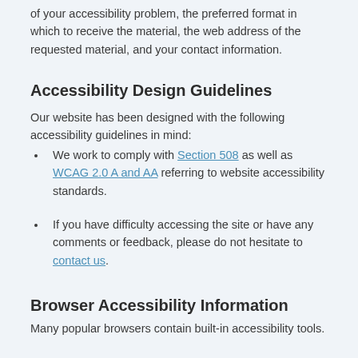of your accessibility problem, the preferred format in which to receive the material, the web address of the requested material, and your contact information.
Accessibility Design Guidelines
Our website has been designed with the following accessibility guidelines in mind:
We work to comply with Section 508 as well as WCAG 2.0 A and AA referring to website accessibility standards.
If you have difficulty accessing the site or have any comments or feedback, please do not hesitate to contact us.
Browser Accessibility Information
Many popular browsers contain built-in accessibility tools.